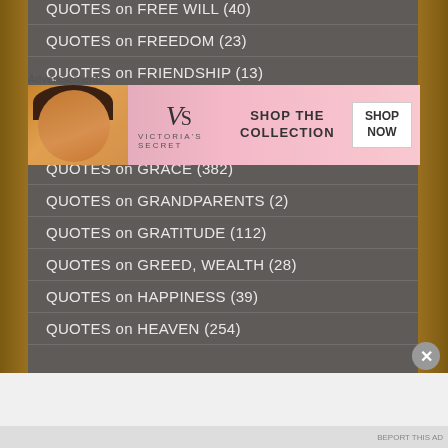QUOTES on FREE WILL (40)
QUOTES on FREEDOM (23)
QUOTES on FRIENDSHIP (13)
QUOTES on GOOD WORKS (26)
QUOTES on GOSSIP (17)
QUOTES on GRACE (382)
QUOTES on GRANDPARENTS (2)
QUOTES on GRATITUDE (112)
QUOTES on GREED, WEALTH (28)
QUOTES on HAPPINESS (39)
QUOTES on HEAVEN (254)
Advertisements
[Figure (photo): Victoria's Secret advertisement banner with a woman model, VS logo, 'SHOP THE COLLECTION' text, and 'SHOP NOW' button]